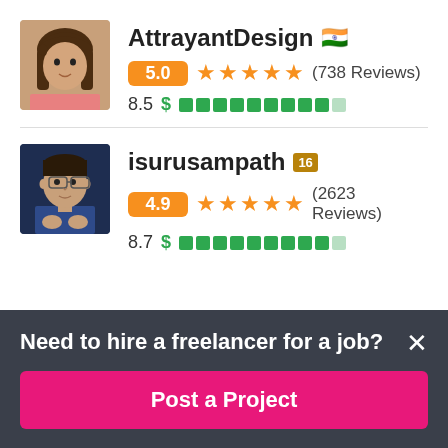[Figure (screenshot): Freelancer profile card for AttrayantDesign with Indian flag, 5.0 rating badge, 5 orange stars, (738 Reviews), score 8.5 with green dollar sign and green progress bar]
[Figure (screenshot): Freelancer profile card for isurusampath with Sri Lanka flag icon, 4.9 rating badge, 5 orange stars, (2623 Reviews), score 8.7 with green dollar sign and green progress bar]
Need to hire a freelancer for a job?
Post a Project